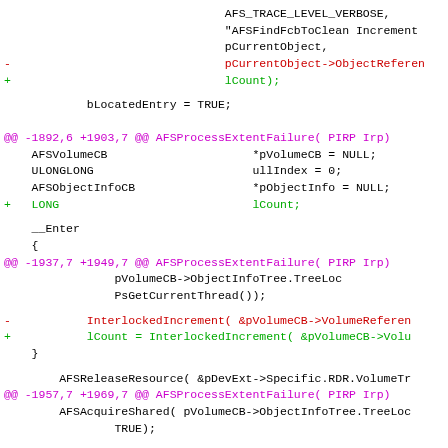Code diff showing changes to AFSProcessExtentFailure function including AFS_TRACE_LEVEL_VERBOSE, bLocatedEntry, lCount variable additions and InterlockedIncrement/Decrement modifications